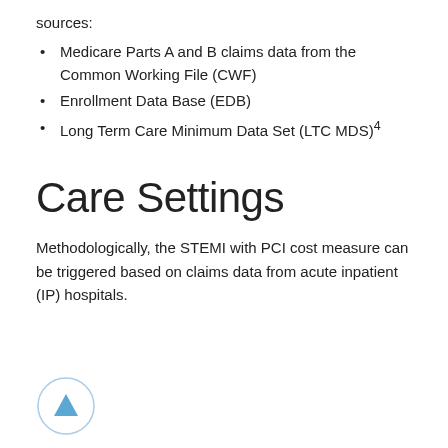sources:
Medicare Parts A and B claims data from the Common Working File (CWF)
Enrollment Data Base (EDB)
Long Term Care Minimum Data Set (LTC MDS)4
Care Settings
Methodologically, the STEMI with PCI cost measure can be triggered based on claims data from acute inpatient (IP) hospitals.
[Figure (other): A circular back-to-top navigation button with a light blue upward-pointing triangle arrow inside a circle with a light blue border.]